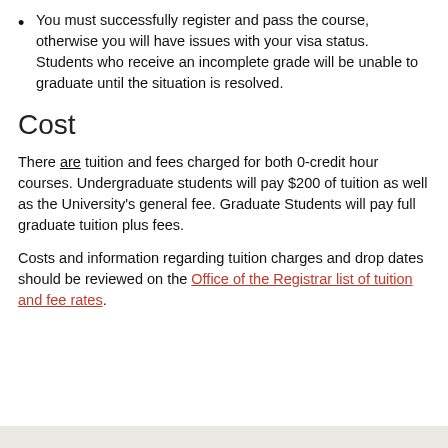You must successfully register and pass the course, otherwise you will have issues with your visa status. Students who receive an incomplete grade will be unable to graduate until the situation is resolved.
Cost
There are tuition and fees charged for both 0-credit hour courses. Undergraduate students will pay $200 of tuition as well as the University's general fee. Graduate Students will pay full graduate tuition plus fees.
Costs and information regarding tuition charges and drop dates should be reviewed on the Office of the Registrar list of tuition and fee rates.